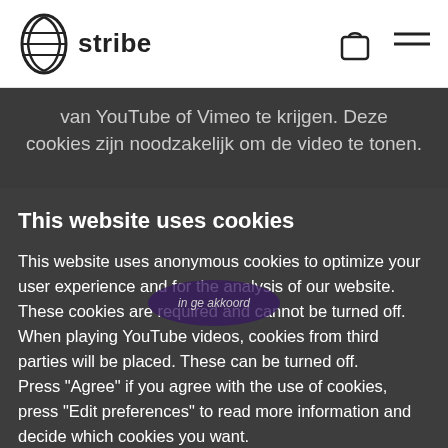stribe
van YouTube of Vimeo te krijgen. Deze cookies zijn noodzakelijk om de video te tonen.
This website uses cookies
This website uses anonymous cookies to optimize your user experience and for the analysis of our website. These cookies are required and cannot be turned off. When playing YouTube videos, cookies from third parties will be placed. These can be turned off.
Press "Agree" if you agree with the use of cookies, press "Edit preferences" to read more information and decide which cookies you want.
Development of the maker
A portion of the proceeds from each wall piece goes to the maker. In addition, the maker is brought into contact with the client and we ensure that he can get all the recognition from the person who bought the